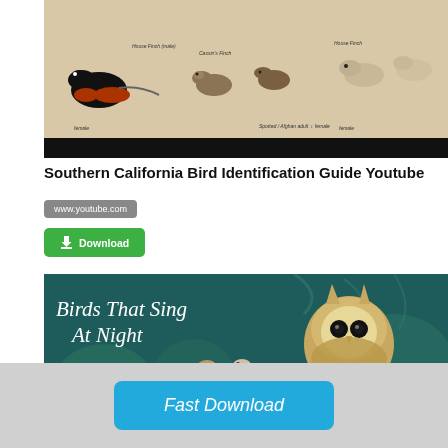[Figure (photo): Bird identification guide showing multiple illustrated birds including finches and sparrows on a white background with labels, with a black bar at the bottom]
Southern California Bird Identification Guide Youtube
www.youtube.com
[Figure (illustration): Green download button with download icon and text 'Download']
[Figure (illustration): Dark teal illustrated banner showing 'Birds That Sing At Night' with illustrated birds including an owl, small songbirds, and foliage]
Fast Download